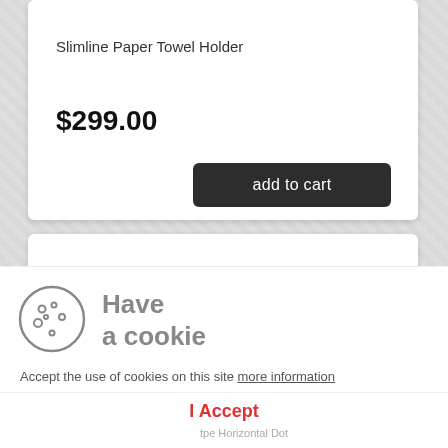Slimline Paper Towel Holder
$299.00
add to cart
[Figure (screenshot): Cookie consent banner with cookie icon, 'Have a cookie' heading, accept text, and 'I Accept' button]
Have a cookie
Accept the use of cookies on this site more information
I Accept